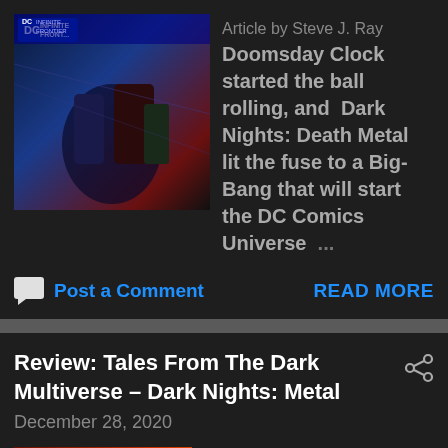Article by Steve J. Ray Doomsday Clock started the ball rolling, and Dark Nights: Death Metal lit the fuse to a Big-Bang that will start the DC Comics Universe ...
Post a Comment
READ MORE
Review: Tales From The Dark Multiverse – Dark Nights: Metal
December 28, 2020
"Tales From The Dark Multiverse – Dark Nights: Metal" Writers: Scott Snyder, Joshua Jennings ...